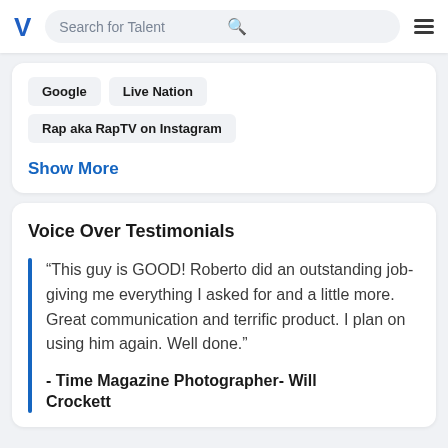Search for Talent
Google
Live Nation
Rap aka RapTV on Instagram
Show More
Voice Over Testimonials
“This guy is GOOD! Roberto did an outstanding job- giving me everything I asked for and a little more. Great communication and terrific product. I plan on using him again. Well done.”
- Time Magazine Photographer- Will Crockett